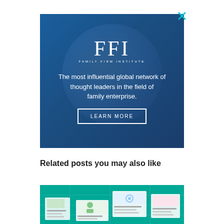[Figure (other): FFI Family Firm Institute advertisement banner with dark blue background showing a globe, FFI logo, tagline 'The most influential global network of thought leaders in the field of family enterprise.' and a LEARN MORE button. A close (X) button appears at top right.]
Related posts you may also like
[Figure (screenshot): Teal/green background image showing multiple overlapping document/article previews arranged like a collage, representing related blog posts or articles.]